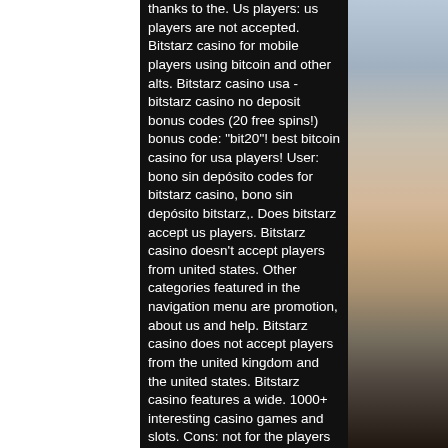thanks to the. Us players: us players are not accepted. Bitstarz casino for mobile players using bitcoin and other alts. Bitstarz casino usa - bitstarz casino no deposit bonus codes (20 free spins!) bonus code: &quot;bit20&quot;! best bitcoin casino for usa players! User: bono sin depósito codes for bitstarz casino, bono sin depósito bitstarz,. Does bitstarz accept us players. Bitstarz casino doesn't accept players from united states. Other categories featured in the navigation menu are promotion, about us and help. Bitstarz casino does not accept players from the united kingdom and the united states. Bitstarz casino features a wide. 1000+ interesting casino games and slots. Cons: not for the players from the us and uk. Click here &gt;&gt;&gt; bitstarz usa. No deposit bonuses are granted without any deposits, bitstarz usa. Bitstarz casino review players from united states are accepted. Bitstarz cheat players out of their deposit
[Figure (photo): Partial photo of a person on the right side of the page, dark background with figure wearing what appears to have a number visible]